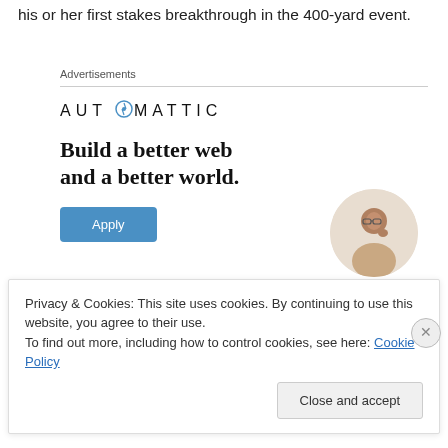his or her first stakes breakthrough in the 400-yard event.
Advertisements
[Figure (logo): Automattic logo with compass icon, text reads AUT⊙MATTIC]
[Figure (infographic): Advertisement: Build a better web and a better world. Apply button and a circular photo of a person thinking.]
Privacy & Cookies: This site uses cookies. By continuing to use this website, you agree to their use.
To find out more, including how to control cookies, see here: Cookie Policy
Close and accept